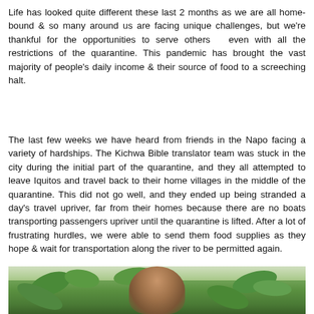Life has looked quite different these last 2 months as we are all homebound & so many around us are facing unique challenges, but we're thankful for the opportunities to serve others  even with all the restrictions of the quarantine. This pandemic has brought the vast majority of people's daily income & their source of food to a screeching halt.
The last few weeks we have heard from friends in the Napo facing a variety of hardships. The Kichwa Bible translator team was stuck in the city during the initial part of the quarantine, and they all attempted to leave Iquitos and travel back to their home villages in the middle of the quarantine. This did not go well, and they ended up being stranded a day's travel upriver, far from their homes because there are no boats transporting passengers upriver until the quarantine is lifted. After a lot of frustrating hurdles, we were able to send them food supplies as they hope & wait for transportation along the river to be permitted again.
[Figure (photo): A person surrounded by lush green tropical foliage and leaves]